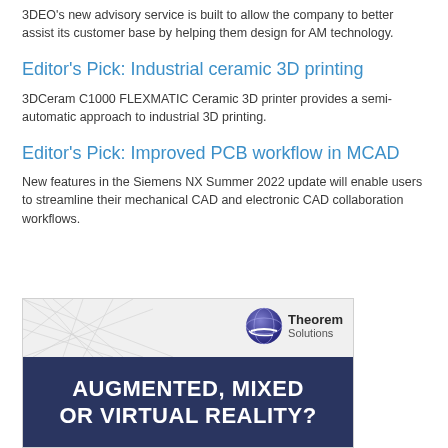3DEO's new advisory service is built to allow the company to better assist its customer base by helping them design for AM technology.
Editor's Pick: Industrial ceramic 3D printing
3DCeram C1000 FLEXMATIC Ceramic 3D printer provides a semi-automatic approach to industrial 3D printing.
Editor's Pick: Improved PCB workflow in MCAD
New features in the Siemens NX Summer 2022 update will enable users to streamline their mechanical CAD and electronic CAD collaboration workflows.
[Figure (illustration): Theorem Solutions advertisement banner with triangular mesh background on top half and dark navy blue bottom half with text 'AUGMENTED, MIXED OR VIRTUAL REALITY?' in white bold letters. The Theorem Solutions logo with globe icon is in the upper right.]